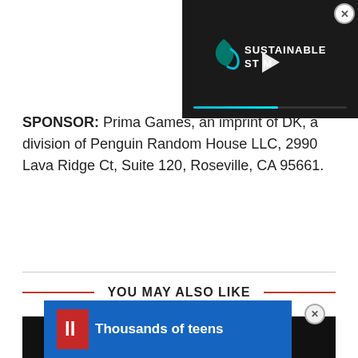[Figure (screenshot): Video player overlay in top-right corner showing 'Sustainable Stream' logo with play button and progress bar on dark background]
SPONSOR: Prima Games, an imprint of DK, a division of Penguin Random House LLC, 2990 Lava Ridge Ct, Suite 120, Roseville, CA 95661.
YOU MAY ALSO LIKE
[Figure (screenshot): Thumbnail image area with dark background, partially showing a device]
[Figure (screenshot): Bottom advertisement overlay with blue background showing 'Thousands of teens' text]